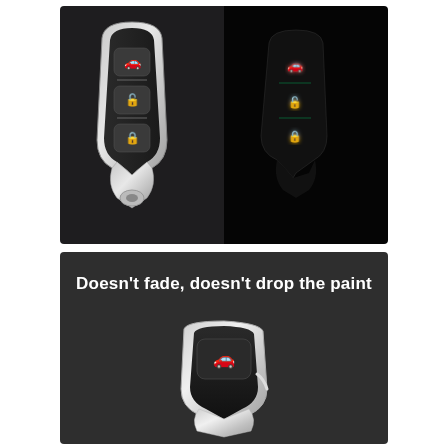[Figure (photo): Two side-by-side photos of a car key fob: left shows the key in normal light with silver/black finish and 3 buttons with white icons; right shows the same key in darkness with glowing green button icons]
[Figure (photo): Photo of a silver/chrome car key fob with text overlay reading 'Doesn't fade, doesn't drop the paint', showing the key's durable metallic finish]